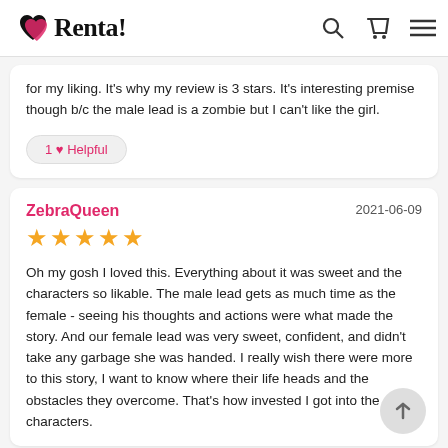Renta!
for my liking. It's why my review is 3 stars. It's interesting premise though b/c the male lead is a zombie but I can't like the girl.
1 ♥ Helpful
ZebraQueen
2021-06-09
★★★★★
Oh my gosh I loved this. Everything about it was sweet and the characters so likable. The male lead gets as much time as the female - seeing his thoughts and actions were what made the story. And our female lead was very sweet, confident, and didn't take any garbage she was handed. I really wish there were more to this story, I want to know where their life heads and the obstacles they overcome. That's how invested I got into the characters.